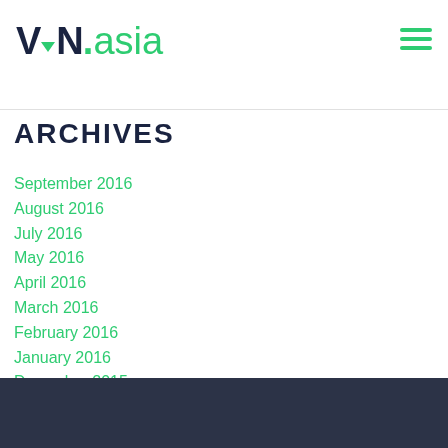VPN.asia
ARCHIVES
September 2016
August 2016
July 2016
May 2016
April 2016
March 2016
February 2016
January 2016
December 2015
November 2015
October 2015
September 2015
August 2015
July 2015